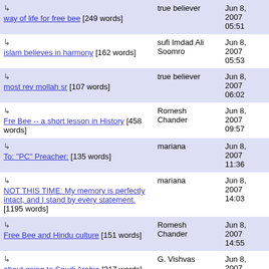| Title | Author | Date |
| --- | --- | --- |
| ↳ way of life for free bee [249 words] | true believer | Jun 8, 2007 05:51 |
| ↳ islam believes in harmony [162 words] | sufi Imdad Ali Soomro | Jun 8, 2007 05:53 |
| ↳ most rev mollah sr [107 words] | true believer | Jun 8, 2007 06:02 |
| ↳ Fre Bee -- a short lesson in History [458 words] | Romesh Chander | Jun 8, 2007 09:57 |
| ↳ To: "PC" Preacher: [135 words] | mariana | Jun 8, 2007 11:36 |
| ↳ NOT THIS TIME: My memory is perfectly intact, and I stand by every statement. [1195 words] | mariana | Jun 8, 2007 14:03 |
| ↳ Free Bee and Hindu culture [151 words] | Romesh Chander | Jun 8, 2007 14:55 |
| ↳ about going to Saudi Arabia [317 words] | G. Vishvas | Jun 8, 2007 15:45 |